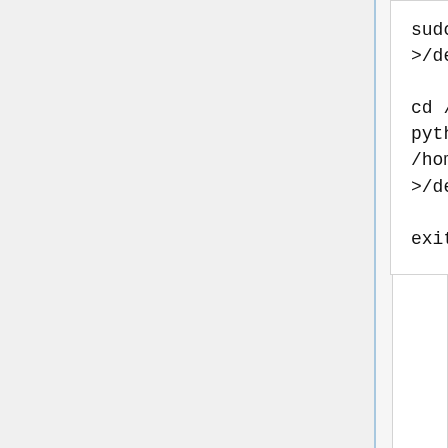sudo ir-keytable -p rc-5 >/dev/null 2>/dev/null

cd /home/pi/ryde
python3 -m rydeplayer /home/pi/ryde/config.yaml >/dev/null 2>/dev/null &

exit
In this example it is rc-5.
Once you have edited and saved both files, you can press ctrl-c to exit the remote control code monitor screen, and then type menu to return to the menu and then start the receiver. Test your remote.
If it all works, please post details of your remote and its codes on the BATC Forum here BATC Forum Ryde Remote